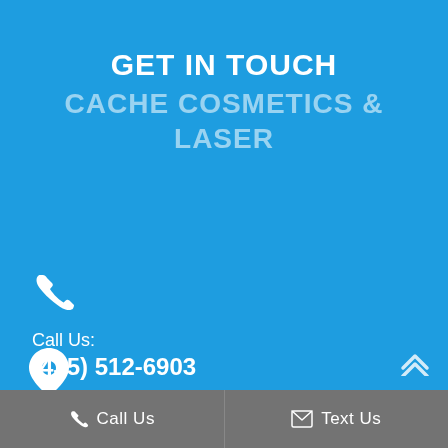GET IN TOUCH
CACHE COSMETICS & LASER
Call Us:
(435) 512-6903
[Figure (other): Map pin / location icon]
Call Us   Text Us